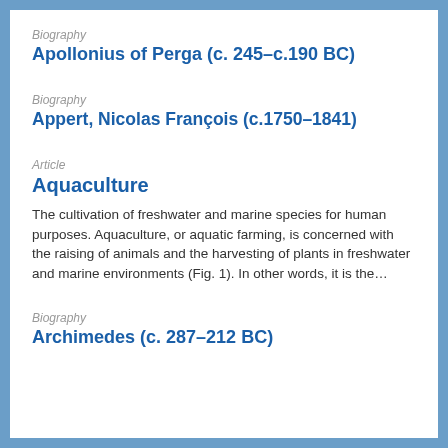Biography
Apollonius of Perga (c. 245–c.190 BC)
Biography
Appert, Nicolas François (c.1750–1841)
Article
Aquaculture
The cultivation of freshwater and marine species for human purposes. Aquaculture, or aquatic farming, is concerned with the raising of animals and the harvesting of plants in freshwater and marine environments (Fig. 1). In other words, it is the…
Biography
Archimedes (c. 287–212 BC)